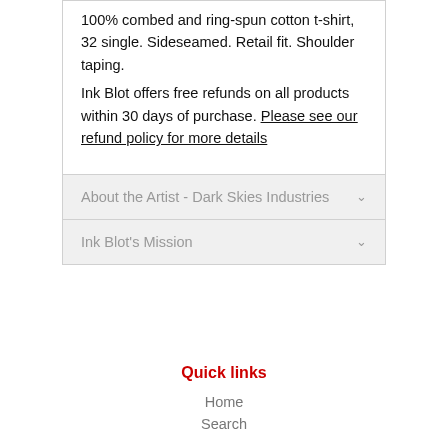100% combed and ring-spun cotton t-shirt, 32 single. Sideseamed. Retail fit. Shoulder taping.
Ink Blot offers free refunds on all products within 30 days of purchase. Please see our refund policy for more details
About the Artist - Dark Skies Industries
Ink Blot's Mission
Quick links
Home
Search